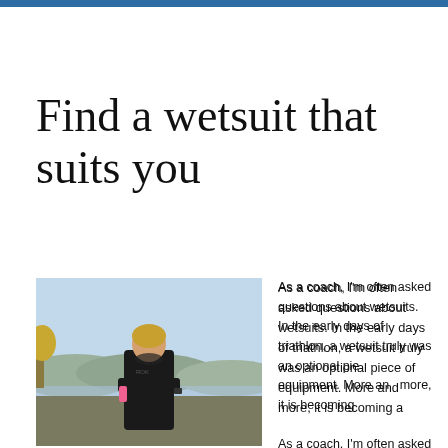Find a wetsuit that suits you
[Figure (photo): Woman in a black wetsuit (ROK brand) standing outdoors near a body of water with hills and trees in the background. She has blonde hair and is looking at the camera with arms crossed.]
As a coach, I'm often asked questions about wetsuits. In the early days of triathlon, a wetsuit truly was an optional piece of equipment. More and more, it is becoming...